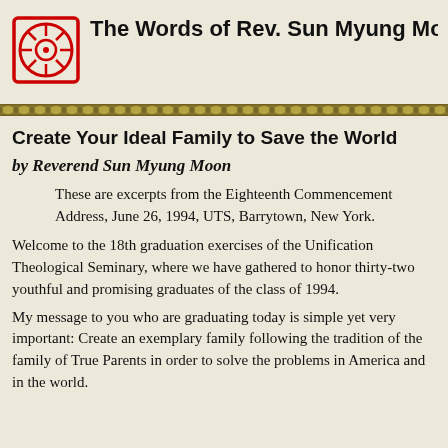The Words of Rev. Sun Myung Moon For 199...
[Figure (logo): Red circular logo with wheel/compass design and rectangular border, in red outline style]
Create Your Ideal Family to Save the World
by Reverend Sun Myung Moon
These are excerpts from the Eighteenth Commencement Address, June 26, 1994, UTS, Barrytown, New York.
Welcome to the 18th graduation exercises of the Unification Theological Seminary, where we have gathered to honor thirty-two youthful and promising graduates of the class of 1994.
My message to you who are graduating today is simple yet very important: Create an exemplary family following the tradition of the family of True Parents in order to solve the problems in America and in the world.